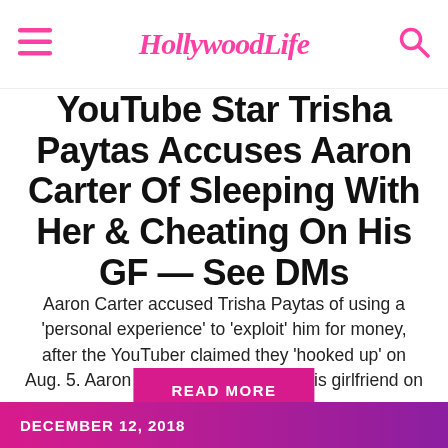HollywoodLife
YouTube Star Trisha Paytas Accuses Aaron Carter Of Sleeping With Her & Cheating On His GF — See DMs
Aaron Carter accused Trisha Paytas of using a 'personal experience' to 'exploit' him for money, after the YouTuber claimed they 'hooked up' on Aug. 5. Aaron revealed he split with his girlfriend on Aug. 4!
READ MORE
DECEMBER 12, 2018